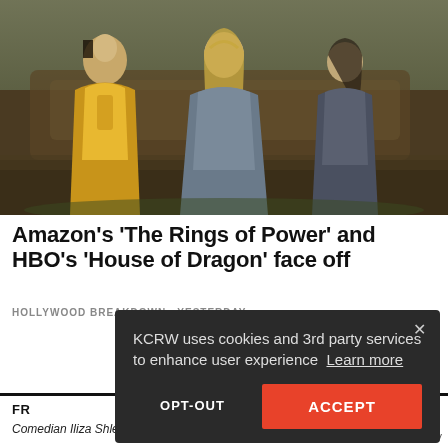[Figure (photo): Three fantasy characters in elaborate medieval/elvish costumes standing outdoors. Left figure wears gold robes, center is a blonde woman in grey-blue gown, right figure wears dark grey cloak. Background shows weathered wood and greenery. Scene from Amazon's 'The Rings of Power'.]
Amazon's 'The Rings of Power' and HBO's 'House of Dragon' face off
HOLLYWOOD BREAKDOWN · YESTERDAY
KCRW uses cookies and 3rd party services to enhance user experience Learn more
OPT-OUT
ACCEPT
FR
Comedian Iliza Shlesinger on the realities of marriag
Your Privacy